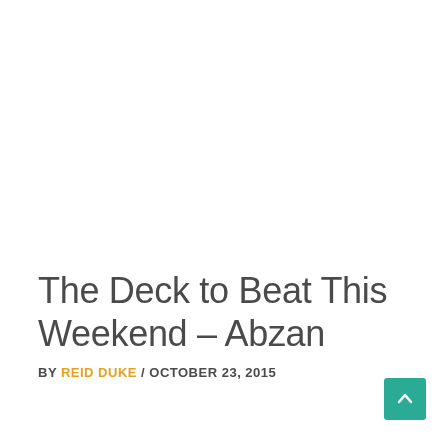The Deck to Beat This Weekend – Abzan
BY REID DUKE / OCTOBER 23, 2015